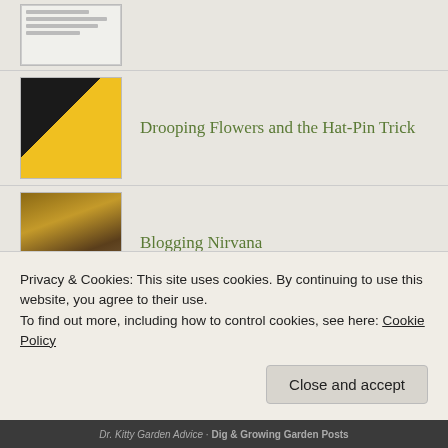Drooping Flowers and the Hat-Pin Trick
Blogging Nirvana
Not a Zucchini?
The Case of the Shrinking Lawn
Privacy & Cookies: This site uses cookies. By continuing to use this website, you agree to their use. To find out more, including how to control cookies, see here: Cookie Policy
Close and accept
Dr. Kitty Garden Advice · Dig & Growing Garden Posts